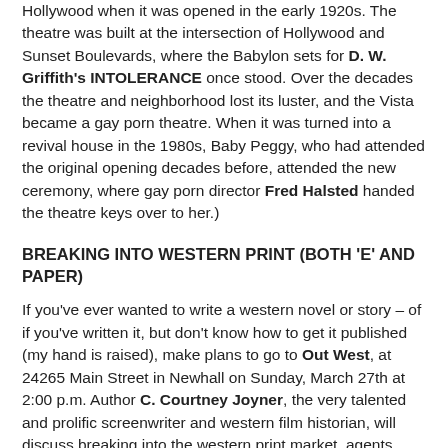Hollywood when it was opened in the early 1920s. The theatre was built at the intersection of Hollywood and Sunset Boulevards, where the Babylon sets for D. W. Griffith's INTOLERANCE once stood. Over the decades the theatre and neighborhood lost its luster, and the Vista became a gay porn theatre. When it was turned into a revival house in the 1980s, Baby Peggy, who had attended the original opening decades before, attended the new ceremony, where gay porn director Fred Halsted handed the theatre keys over to her.)
BREAKING INTO WESTERN PRINT (BOTH 'E' AND PAPER)
If you've ever wanted to write a western novel or story – of if you've written it, but don't know how to get it published (my hand is raised), make plans to go to Out West, at 24265 Main Street in Newhall on Sunday, March 27th at 2:00 p.m. Author C. Courtney Joyner, the very talented and prolific screenwriter and western film historian, will discuss breaking into the western print market, agents, editors, networking, the changes at Leisure Books, 'E' publishing, university presses, contacts, and publishers across the pond. Mr.